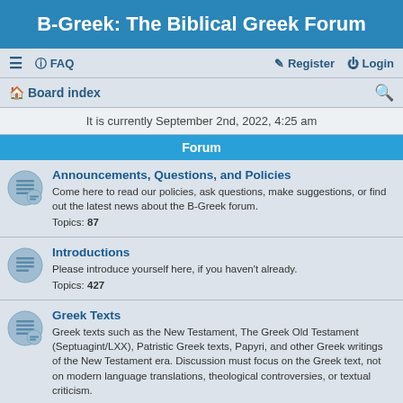B-Greek: The Biblical Greek Forum
≡  FAQ    Register  Login
Board index
It is currently September 2nd, 2022, 4:25 am
Forum
Announcements, Questions, and Policies
Come here to read our policies, ask questions, make suggestions, or find out the latest news about the B-Greek forum.
Topics: 87
Introductions
Please introduce yourself here, if you haven't already.
Topics: 427
Greek Texts
Greek texts such as the New Testament, The Greek Old Testament (Septuagint/LXX), Patristic Greek texts, Papyri, and other Greek writings of the New Testament era. Discussion must focus on the Greek text, not on modern language translations, theological controversies, or textual criticism.
Topics: 1205
Greek Language and Linguistics
Biblical Greek morphology and syntax, aspect, linguistics, discourse analysis, and related topics
Topics: 877
Teaching and Learning Greek